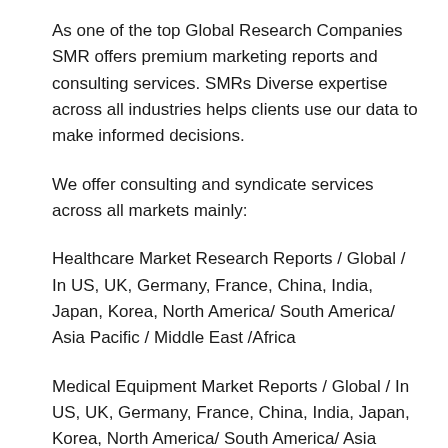As one of the top Global Research Companies SMR offers premium marketing reports and consulting services. SMRs Diverse expertise across all industries helps clients use our data to make informed decisions.
We offer consulting and syndicate services across all markets mainly:
Healthcare Market Research Reports / Global / In US, UK, Germany, France, China, India, Japan, Korea, North America/ South America/ Asia Pacific / Middle East /Africa
Medical Equipment Market Reports / Global / In US, UK, Germany, France, China, India, Japan, Korea, North America/ South America/ Asia Pacific / Middle East /Africa